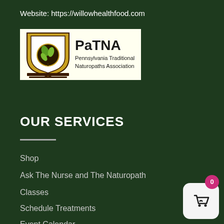Website: https://willowhealthfood.com
[Figure (logo): PaTNA - Pennsylvania Traditional Naturopaths Association logo with keystone shape and green leaf plant icon]
OUR SERVICES
Shop
Ask The Nurse and The Naturopath
Classes
Schedule Treatments
Event Calendar
[Figure (illustration): Shopping cart widget with 0 badge in bottom-right corner]